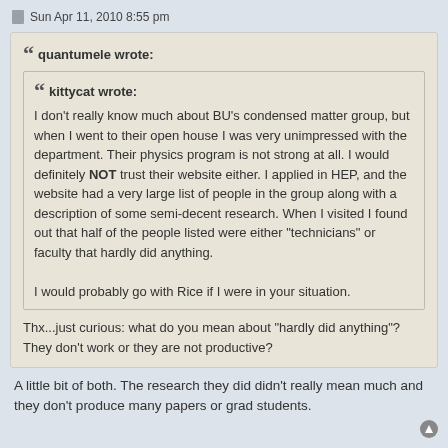Sun Apr 11, 2010 8:55 pm
quantumele wrote:
kittycat wrote:
I don't really know much about BU's condensed matter group, but when I went to their open house I was very unimpressed with the department. Their physics program is not strong at all. I would definitely NOT trust their website either. I applied in HEP, and the website had a very large list of people in the group along with a description of some semi-decent research. When I visited I found out that half of the people listed were either "technicians" or faculty that hardly did anything.

I would probably go with Rice if I were in your situation.
Thx...just curious: what do you mean about "hardly did anything"? They don't work or they are not productive?
A little bit of both. The research they did didn't really mean much and they don't produce many papers or grad students.